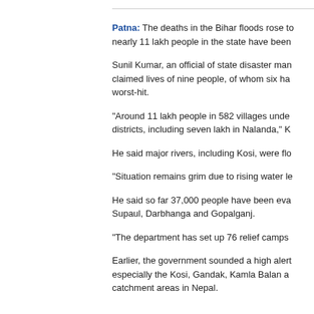Patna: The deaths in the Bihar floods rose to nearly 11 lakh people in the state have been
Sunil Kumar, an official of state disaster management claimed lives of nine people, of whom six have worst-hit.
"Around 11 lakh people in 582 villages under districts, including seven lakh in Nalanda," K
He said major rivers, including Kosi, were flo
"Situation remains grim due to rising water le
He said so far 37,000 people have been eva Supaul, Darbhanga and Gopalganj.
"The department has set up 76 relief camps
Earlier, the government sounded a high alert especially the Kosi, Gandak, Kamla Balan and catchment areas in Nepal.